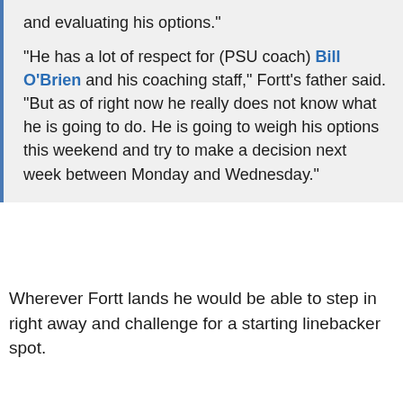and evaluating his options."
"He has a lot of respect for (PSU coach) Bill O'Brien and his coaching staff," Fortt's father said. "But as of right now he really does not know what he is going to do. He is going to weigh his options this weekend and try to make a decision next week between Monday and Wednesday."
Wherever Fortt lands he would be able to step in right away and challenge for a starting linebacker spot.